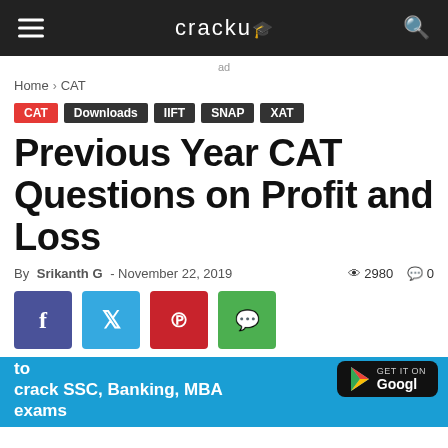cracku
ad
Home › CAT
CAT  Downloads  IIFT  SNAP  XAT
Previous Year CAT Questions on Profit and Loss
By Srikanth G - November 22, 2019   2980   0
[Figure (infographic): Social share buttons: Facebook (blue-purple), Twitter (blue), Pinterest (red), WhatsApp (green)]
[Figure (photo): Dark background image with cracku logo badge in teal, and a download app banner at the bottom: 'Download our top-rated app to crack SSC, Banking, MBA exams' with Google Play button]